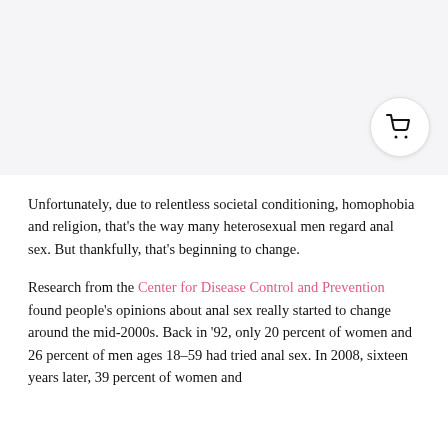[Figure (other): Top image area with light grey/lavender background, partially visible. A shopping cart icon button in a white circle is positioned at the bottom right of the image area.]
Unfortunately, due to relentless societal conditioning, homophobia and religion, that's the way many heterosexual men regard anal sex. But thankfully, that's beginning to change.
Research from the Center for Disease Control and Prevention found people's opinions about anal sex really started to change around the mid-2000s. Back in '92, only 20 percent of women and 26 percent of men ages 18–59 had tried anal sex. In 2008, sixteen years later, 39 percent of women and